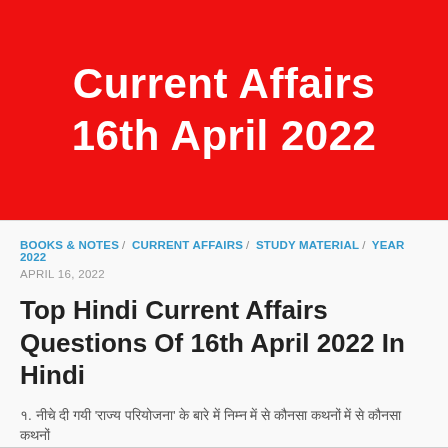Current Affairs
16th April 2022
BOOKS & NOTES / CURRENT AFFAIRS / STUDY MATERIAL / YEAR 2022
APRIL 16, 2022
Top Hindi Current Affairs Questions Of 16th April 2022 In Hindi
१. नीचे दी गयी 'राज्य परियोजना' के बारे में निम्न में से कौनसा कथन/कथन सही हैं...